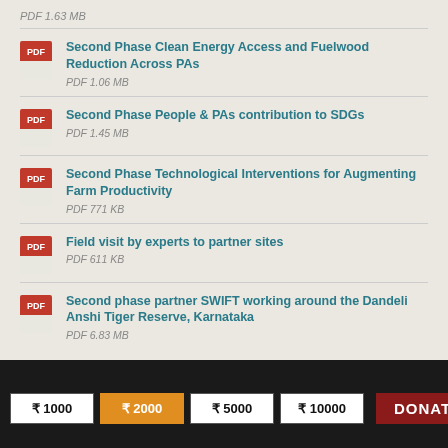PDF 1.63 MB
Second Phase Clean Energy Access and Fuelwood Reduction Across PAs
PDF 1.06 MB
Second Phase People & PAs contribution to SDGs
PDF 1.45 MB
Second Phase Technological Interventions for Augmenting Farm Productivity
PDF 771 KB
Field visit by experts to partner sites
PDF 611 KB
Second phase partner SWIFT working around the Dandeli Anshi Tiger Reserve, Karnataka
PDF 6.83 MB
₹ 1000  ₹ 2000  ₹ 5000  ₹ 10000  DONATE